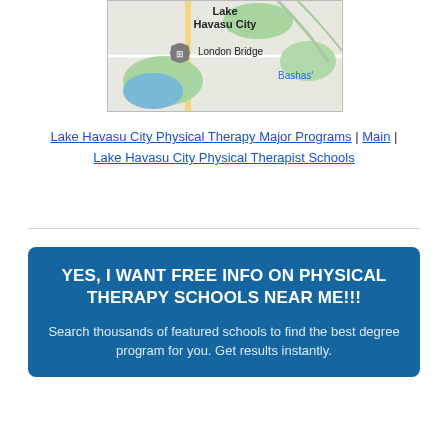[Figure (map): Google Maps screenshot showing Lake Havasu City area with London Bridge marker and Bashas' label visible]
Lake Havasu City Physical Therapy Major Programs | Main | Lake Havasu City Physical Therapist Schools
YES, I WANT FREE INFO ON PHYSICAL THERAPY SCHOOLS NEAR ME!!!
Search thousands of featured schools to find the best degree program for you. Get results instantly.